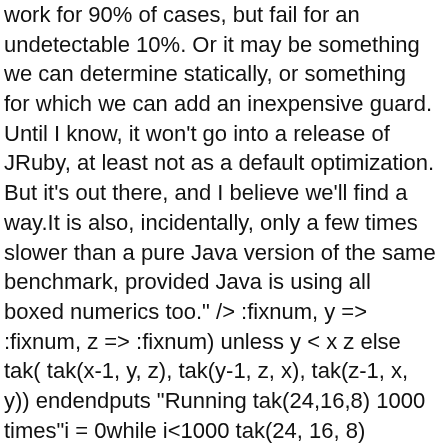work for 90% of cases, but fail for an undetectable 10%. Or it may be something we can determine statically, or something for which we can add an inexpensive guard. Until I know, it won't go into a release of JRuby, at least not as a default optimization. But it's out there, and I believe we'll find a way.It is also, incidentally, only a few times slower than a pure Java version of the same benchmark, provided Java is using all boxed numerics too." /> :fixnum, y => :fixnum, z => :fixnum) unless y < x z else tak( tak(x-1, y, z), tak(y-1, z, x), tak(z-1, x, y)) endendputs "Running tak(24,16,8) 1000 times"i = 0while i<1000 tak(24, 16, 8) i+=1endThis is the Takeuchi function written in Duby. It looks basically like Ruby, except for the :fixnum type hints in the signature. Here's a timing of the above script (which calls tak the same as before but 1000 times instead of 5 times), running on the server JVM:→ time jruby -J-server bin/duby examples/tak.dubyRunning tak(24,16,8) 1000